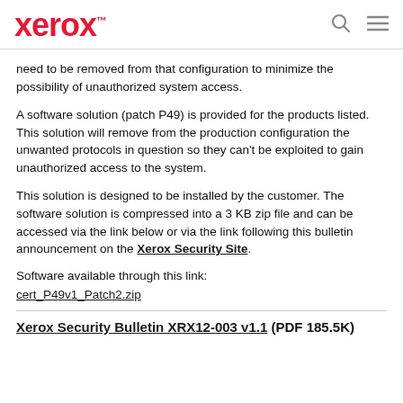xerox™
need to be removed from that configuration to minimize the possibility of unauthorized system access.
A software solution (patch P49) is provided for the products listed. This solution will remove from the production configuration the unwanted protocols in question so they can't be exploited to gain unauthorized access to the system.
This solution is designed to be installed by the customer. The software solution is compressed into a 3 KB zip file and can be accessed via the link below or via the link following this bulletin announcement on the Xerox Security Site.
Software available through this link:
cert_P49v1_Patch2.zip
Xerox Security Bulletin XRX12-003 v1.1 (PDF 185.5K)